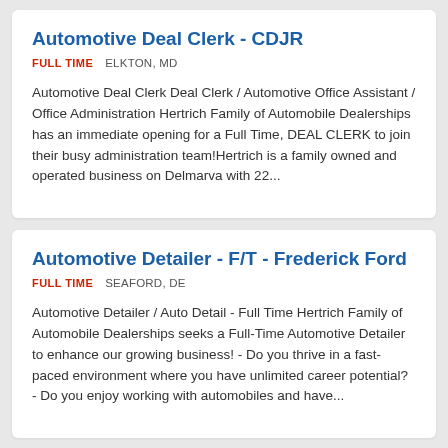Automotive Deal Clerk - CDJR
FULL TIME   ELKTON, MD
Automotive Deal Clerk Deal Clerk / Automotive Office Assistant / Office Administration Hertrich Family of Automobile Dealerships has an immediate opening for a Full Time, DEAL CLERK to join their busy administration team!Hertrich is a family owned and operated business on Delmarva with 22...
Automotive Detailer - F/T - Frederick Ford
FULL TIME   SEAFORD, DE
Automotive Detailer / Auto Detail - Full Time Hertrich Family of Automobile Dealerships seeks a Full-Time Automotive Detailer to enhance our growing business! - Do you thrive in a fast-paced environment where you have unlimited career potential? - Do you enjoy working with automobiles and have...